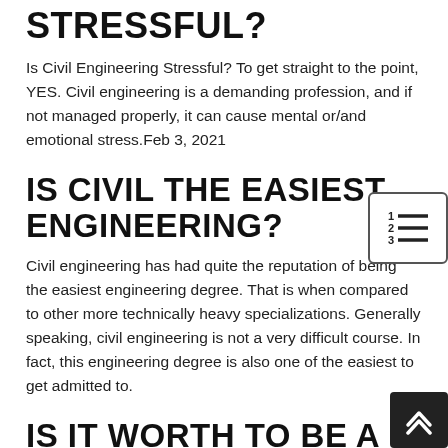STRESSFUL?
Is Civil Engineering Stressful? To get straight to the point, YES. Civil engineering is a demanding profession, and if not managed properly, it can cause mental or/and emotional stress.Feb 3, 2021
IS CIVIL THE EASIEST ENGINEERING?
Civil engineering has had quite the reputation of being the easiest engineering degree. That is when compared to other more technically heavy specializations. Generally speaking, civil engineering is not a very difficult course. In fact, this engineering degree is also one of the easiest to get admitted to.
IS IT WORTH TO BE A CIVIL ENGINEER?